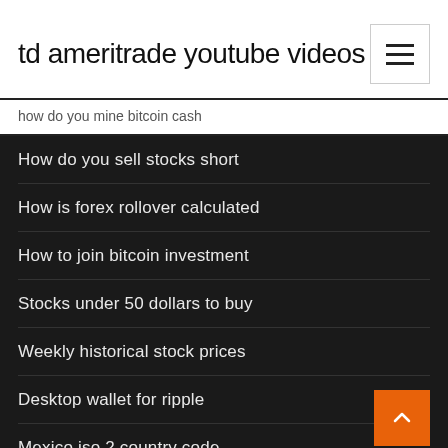td ameritrade youtube videos
how do you mine bitcoin cash
How do you sell stocks short
How is forex rollover calculated
How to join bitcoin investment
Stocks under 50 dollars to buy
Weekly historical stock prices
Desktop wallet for ripple
Mexico iso 2 country code
Hcp stock peak
Lite stock price history
Electronic arts stock history